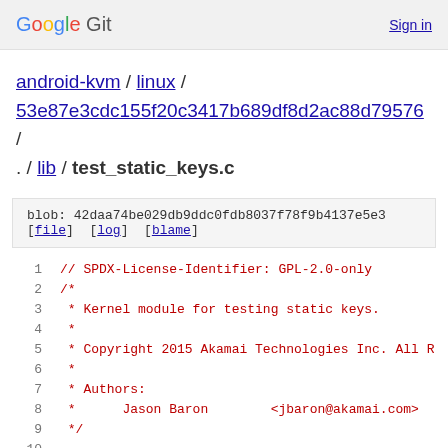Google Git  Sign in
android-kvm / linux / 53e87e3cdc155f20c3417b689df8d2ac88d79576 / . / lib / test_static_keys.c
blob: 42daa74be029db9ddc0fdb8037f78f9b4137e5e3 [file] [log] [blame]
1  // SPDX-License-Identifier: GPL-2.0-only
2  /*
3   * Kernel module for testing static keys.
4   *
5   * Copyright 2015 Akamai Technologies Inc. All R
6   *
7   * Authors:
8   *      Jason Baron          <jbaron@akamai.com>
9   */
10